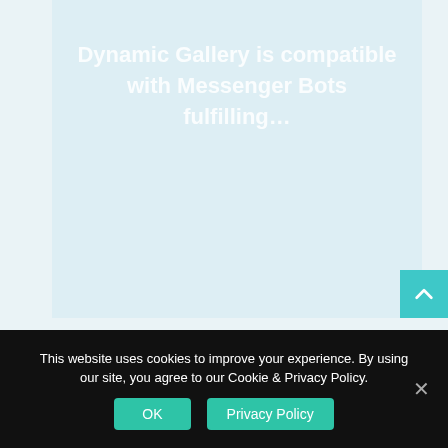[Figure (screenshot): Light blue-gray webpage background with faded white bold text reading 'Dynamic Gallery is compatible with Messenger Bots fulfilling...' and a teal scroll-to-top arrow button in the bottom right corner.]
This website uses cookies to improve your experience. By using our site, you agree to our Cookie & Privacy Policy.
OK
Privacy Policy